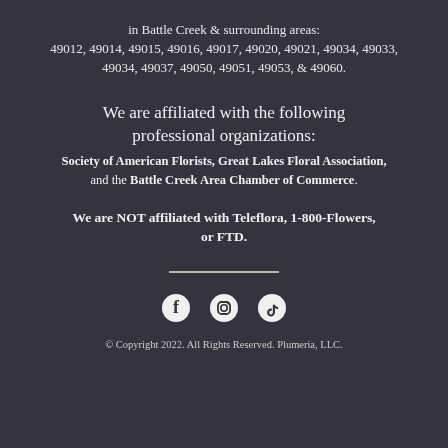in Battle Creek & surrounding areas: 49012, 49014, 49015, 49016, 49017, 49020, 49021, 49034, 49033, 49034, 49037, 49050, 49051, 49053, & 49060.
We are affiliated with the following professional organizations:
Society of American Florists, Great Lakes Floral Association, and the Battle Creek Area Chamber of Commerce.
We are NOT affiliated with Teleflora, 1-800-Flowers, or FTD.
[Figure (other): Horizontal divider line]
[Figure (other): Social media icons: Facebook, Instagram, TikTok]
© Copyright 2022. All Rights Reserved. Plumeria, LLC.